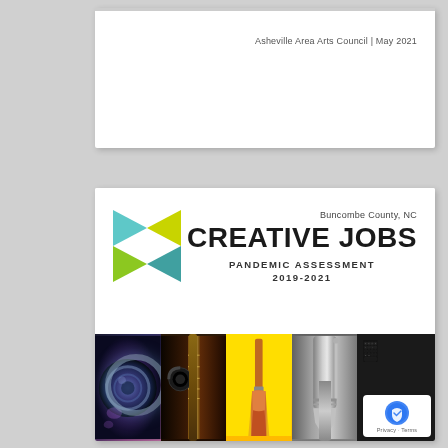Asheville Area Arts Council | May 2021
Buncombe County, NC
CREATIVE JOBS
PANDEMIC ASSESSMENT
2019-2021
[Figure (photo): Cover page photo strip with four panels: camera lens, guitar neck with headphones, paint brush on yellow background, fountain pen nib, and computer keyboard keys.]